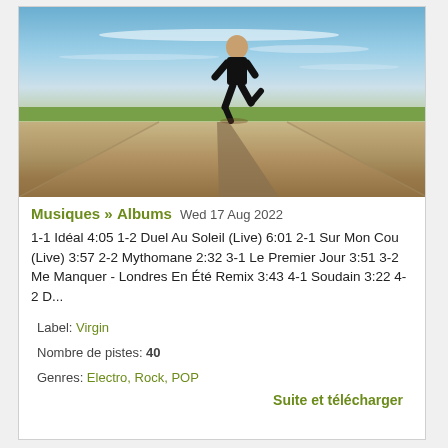[Figure (photo): A man in a black suit running on a long straight road under a blue sky with wispy clouds and green fields on the horizon.]
Musiques » Albums   Wed 17 Aug 2022
1-1 Idéal 4:05 1-2 Duel Au Soleil (Live) 6:01 2-1 Sur Mon Cou (Live) 3:57 2-2 Mythomane 2:32 3-1 Le Premier Jour 3:51 3-2 Me Manquer - Londres En Été Remix 3:43 4-1 Soudain 3:22 4-2 D...
Label: Virgin
Nombre de pistes: 40
Genres: Electro, Rock, POP
Suite et télécharger